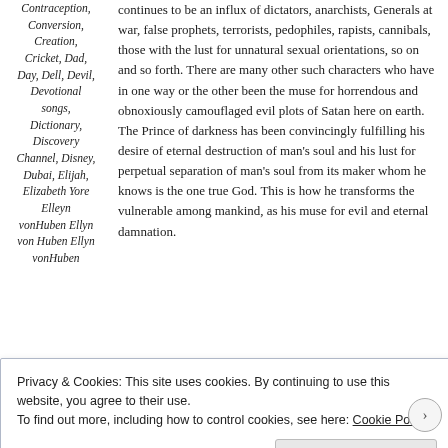Contraception, Conversion, Creation, Cricket, Dad, Day, Dell, Devil, Devotional songs, Dictionary, Discovery Channel, Disney, Dubai, Elijah, Elizabeth Yore Elleyn vonHuben Ellyn von Huben Ellyn vonHuben
continues to be an influx of dictators, anarchists, Generals at war, false prophets, terrorists, pedophiles, rapists, cannibals, those with the lust for unnatural sexual orientations, so on and so forth. There are many other such characters who have in one way or the other been the muse for horrendous and obnoxiously camouflaged evil plots of Satan here on earth. The Prince of darkness has been convincingly fulfilling his desire of eternal destruction of man's soul and his lust for perpetual separation of man's soul from its maker whom he knows is the one true God. This is how he transforms the vulnerable among mankind, as his muse for evil and eternal damnation.
Privacy & Cookies: This site uses cookies. By continuing to use this website, you agree to their use. To find out more, including how to control cookies, see here: Cookie Policy